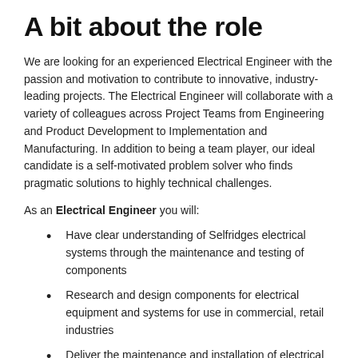p…
A bit about the role
We are looking for an experienced Electrical Engineer with the passion and motivation to contribute to innovative, industry-leading projects. The Electrical Engineer will collaborate with a variety of colleagues across Project Teams from Engineering and Product Development to Implementation and Manufacturing. In addition to being a team player, our ideal candidate is a self-motivated problem solver who finds pragmatic solutions to highly technical challenges.
As an Electrical Engineer you will:
Have clear understanding of Selfridges electrical systems through the maintenance and testing of components
Research and design components for electrical equipment and systems for use in commercial, retail industries
Deliver the maintenance and installation of electrical and emergency lighting equipment, components,